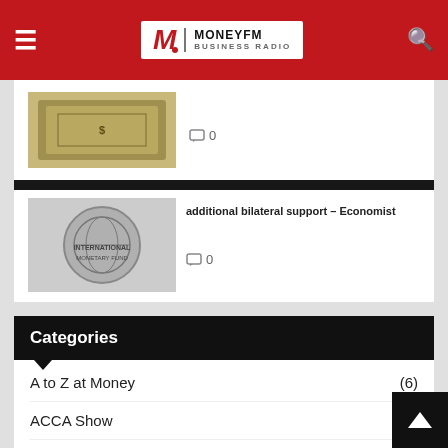MoneyFM Business Radio
[Figure (screenshot): Thumbnail of money/currency image at top]
0
[Figure (screenshot): Listen Live overlay with red play button]
[Figure (photo): IMF logo/seal thumbnail]
additional bilateral support – Economist
0
Categories
A to Z at Money (6)
ACCA Show (1)
Africa Business (3)
Africa Politics
Agri-Talk (2)